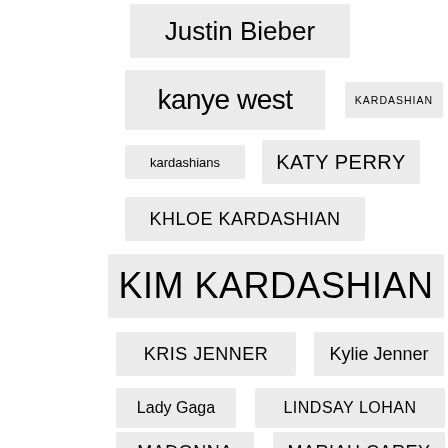Justin Bieber
kanye west
KARDASHIAN
kardashians
KATY PERRY
KHLOE KARDASHIAN
KIM KARDASHIAN
KRIS JENNER
Kylie Jenner
Lady Gaga
LINDSAY LOHAN
MADONNA
MARIAH CAREY
Meghan Markle
Miley Cyrus